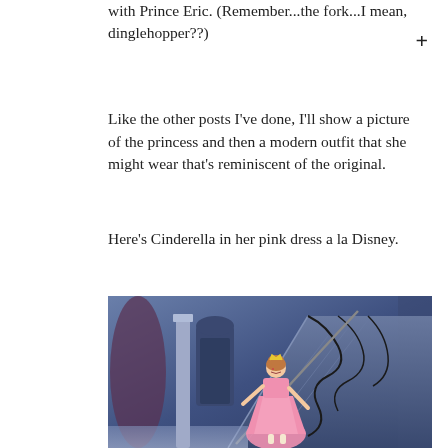with Prince Eric. (Remember...the fork...I mean, dinglehopper??)
Like the other posts I've done, I'll show a picture of the princess and then a modern outfit that she might wear that's reminiscent of the original.
Here's Cinderella in her pink dress a la Disney.
[Figure (illustration): Disney animated illustration of Cinderella in her pink dress on a staircase inside a grand mansion with ornate iron railings and blue curtains.]